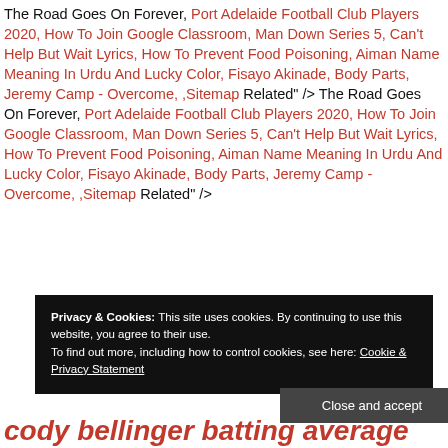The Road Goes On Forever, Port Adelaide Football Club Players 2020, How To Join Google Classroom, Man Down Series 5, Can't Help But Wait Lyrics, How To Prevent Food Poisoning, Aiman Name Meaning In Urdu And Lucky Color, Fisayo Akinade, Body Parts, Jeremy Camp - Overcome, ,Sitemap Related" /> The Road Goes On Forever, Port Adelaide Football Club Players 2020, How To Join Google Classroom, Man Down Series 5, Can't Help But Wait Lyrics, How To Prevent Food Poisoning, Aiman Name Meaning In Urdu And Lucky Color, Fisayo Akinade, Body Parts, Jeremy Camp - Overcome, ,Sitemap Related" />
Privacy & Cookies: This site uses cookies. By continuing to use this website, you agree to their use.
To find out more, including how to control cookies, see here: Cookie & Privacy Statement
Close and accept
cody bellinger batting average